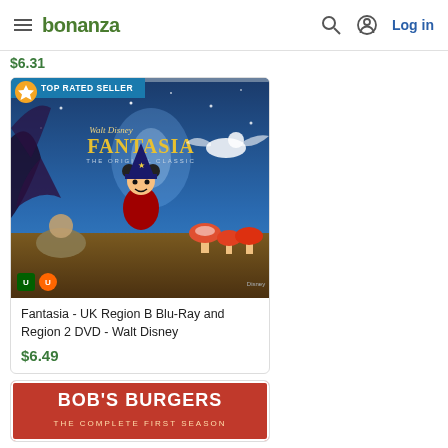bonanza — Log in
$6.31
[Figure (screenshot): Fantasia Walt Disney UK Region B Blu-Ray and Region 2 DVD product cover — blue background showing Mickey Mouse as sorcerer's apprentice, with mushrooms, Chernabog demon, and other characters. Top Rated Seller badge overlay.]
Fantasia - UK Region B Blu-Ray and Region 2 DVD - Walt Disney
$6.49
[Figure (screenshot): Bob's Burgers product listing — partial view of Bob's Burgers DVD cover with red and white text on box art.]